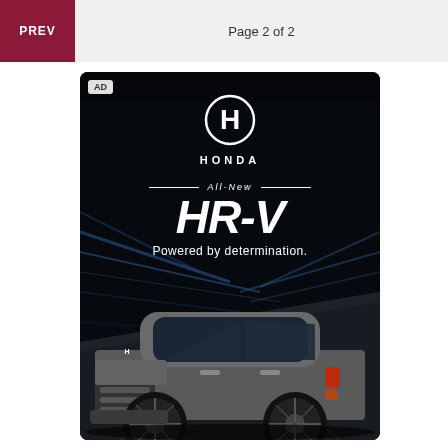PREV   Page 2 of 2
[Figure (photo): Honda HR-V advertisement on dark background. Shows Honda logo (H emblem) at top, text 'All-New HR-V Powered by determination.' in white, and a gray Honda HR-V SUV on a dark road with motion-blur lighting effects. AD badge in top-left corner.]